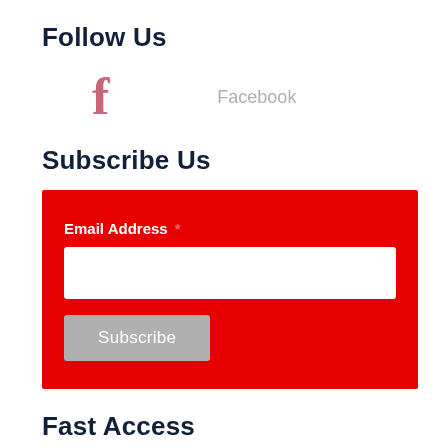Follow Us
f  Facebook
Subscribe Us
Email Address * [input field] Subscribe
Fast Access
About Us
Disclaimer